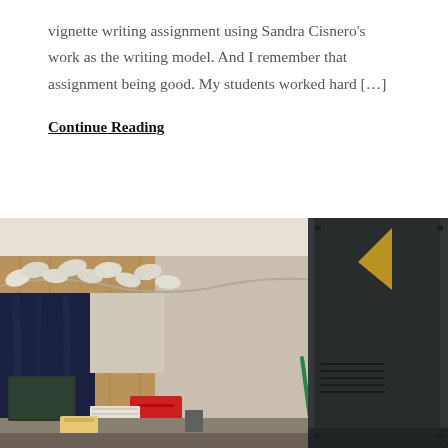vignette writing assignment using Sandra Cisnero's work as the writing model. And I remember that assignment being good. My students worked hard […]
Continue Reading
[Figure (photo): A photo of the back of a laptop/monitor in a home office or classroom setting, with dark curtains, a bookshelf with colorful books visible on the right, white leaf garland in the background, and various desk items visible.]